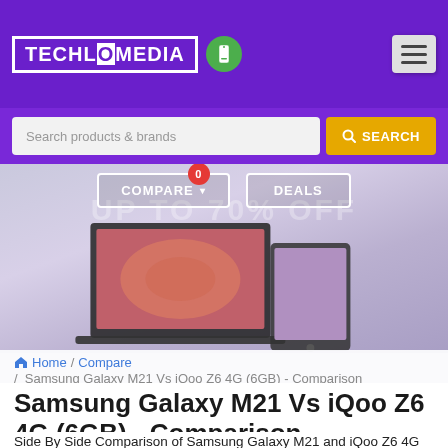TECHLO MEDIA
Search products & brands SEARCH
COMPARE 0  DEALS
[Figure (screenshot): Banner image showing electronic devices including a laptop and tablet, with promotional text 'UP TO 70% OFF' overlaid on a purple gradient background]
Home / Compare / Samsung Galaxy M21 Vs iQoo Z6 4G (6GB) - Comparison
Samsung Galaxy M21 Vs iQoo Z6 4G (6GB) - Comparison
Side By Side Comparison of Samsung Galaxy M21 and iQoo Z6 4G (6GB). Samsung Galaxy M21 vs iQoo Z6 4G (6GB) comparison to